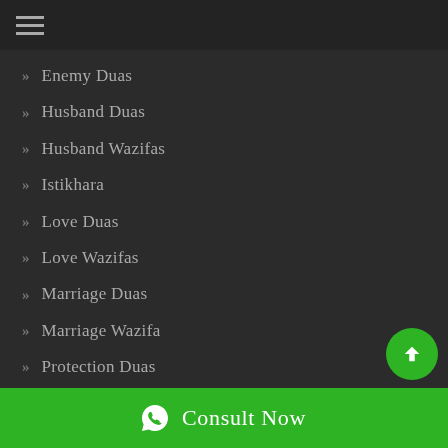Menu
Enemy Duas
Husband Duas
Husband Wazifas
Istikhara
Love Duas
Love Wazifas
Marriage Duas
Marriage Wazifa
Protection Duas
Special Duas
Consult Now